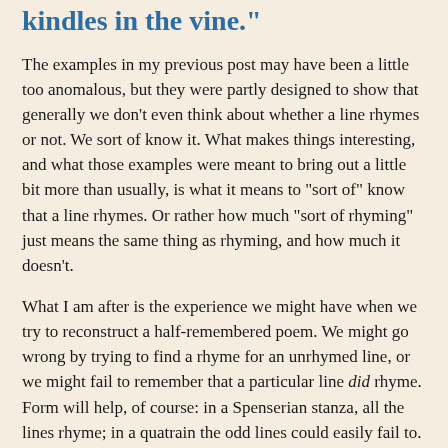kindles in the vine."
The examples in my previous post may have been a little too anomalous, but they were partly designed to show that generally we don't even think about whether a line rhymes or not. We sort of know it. What makes things interesting, and what those examples were meant to bring out a little bit more than usually, is what it means to "sort of" know that a line rhymes. Or rather how much "sort of rhyming" just means the same thing as rhyming, and how much it doesn't.
What I am after is the experience we might have when we try to reconstruct a half-remembered poem. We might go wrong by trying to find a rhyme for an unrhymed line, or we might fail to remember that a particular line did rhyme. Form will help, of course: in a Spenserian stanza, all the lines rhyme; in a quatrain the odd lines could easily fail to. But sometimes the line itself will bring with it its own obscure metadata: this line rhymes; this line doesn't. How is that metadata compressed into, distributed over, the line itself? I've been giving examples where I think the "metadata" are more interesting, more ambiguous, than usual.